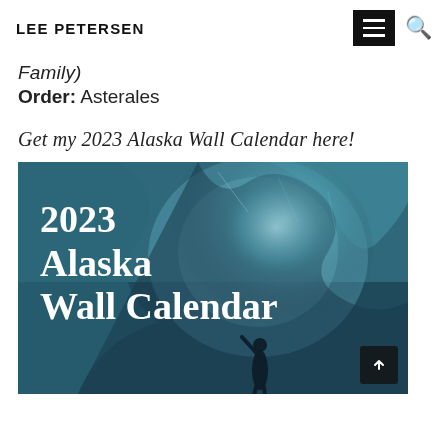LEE PETERSEN
Family)
Order: Asterales
Get my 2023 Alaska Wall Calendar here!
[Figure (photo): 2023 Alaska Wall Calendar promotional image showing a person inside an ice cave or glacier with blue tones, with text overlay reading '2023 Alaska Wall Calendar']